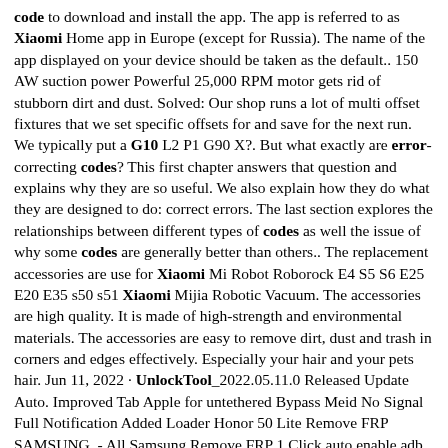code to download and install the app. The app is referred to as Xiaomi Home app in Europe (except for Russia). The name of the app displayed on your device should be taken as the default.. 150 AW suction power Powerful 25,000 RPM motor gets rid of stubborn dirt and dust. Solved: Our shop runs a lot of multi offset fixtures that we set specific offsets for and save for the next run. We typically put a G10 L2 P1 G90 X?. But what exactly are error-correcting codes? This first chapter answers that question and explains why they are so useful. We also explain how they do what they are designed to do: correct errors. The last section explores the relationships between different types of codes as well the issue of why some codes are generally better than others.. The replacement accessories are use for Xiaomi Mi Robot Roborock E4 S5 S6 E25 E20 E35 s50 s51 Xiaomi Mijia Robotic Vacuum. The accessories are high quality. It is made of high-strength and environmental materials. The accessories are easy to remove dirt, dust and trash in corners and edges effectively. Especially your hair and your pets hair. Jun 11, 2022 · UnlockTool_2022.05.11.0 Released Update Auto. Improved Tab Apple for untethered Bypass Meid No Signal Full Notification Added Loader Honor 50 Lite Remove FRP SAMSUNG. - All Samsung Remove FRP 1 Click auto enable adb with Emergency Dialer Open phone when dialing *#0*#.. Test the motor first to check if the motor can runing normally. If motor is normal: 1,replace speed sensor; 2,replace control board. Step 4: Backup and Restore. Now click "Backup and Restore" button. To back up the data, tap on "Backup"